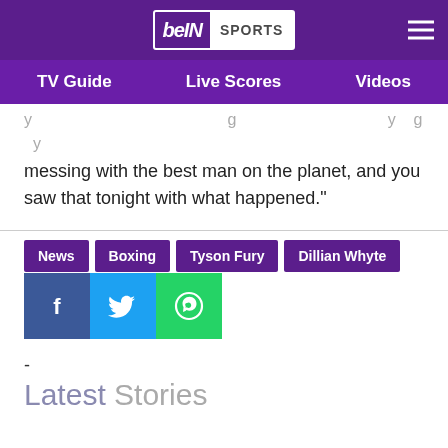[Figure (logo): beIN SPORTS logo with hamburger menu on purple header]
TV Guide  Live Scores  Videos
messing with the best man on the planet, and you saw that tonight with what happened."
News
Boxing
Tyson Fury
Dillian Whyte
[Figure (infographic): Social share buttons: Facebook (blue), Twitter (cyan), WhatsApp (green)]
-
Latest Stories